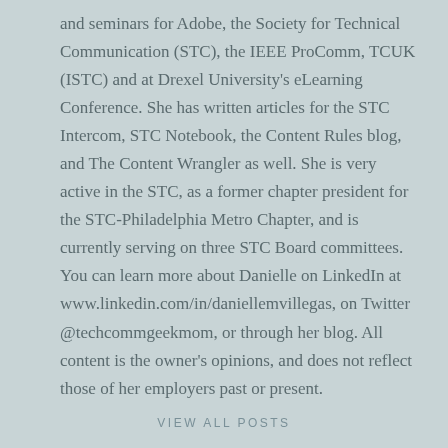and seminars for Adobe, the Society for Technical Communication (STC), the IEEE ProComm, TCUK (ISTC) and at Drexel University's eLearning Conference. She has written articles for the STC Intercom, STC Notebook, the Content Rules blog, and The Content Wrangler as well. She is very active in the STC, as a former chapter president for the STC-Philadelphia Metro Chapter, and is currently serving on three STC Board committees. You can learn more about Danielle on LinkedIn at www.linkedin.com/in/daniellemvillegas, on Twitter @techcommgeekmom, or through her blog. All content is the owner's opinions, and does not reflect those of her employers past or present.
VIEW ALL POSTS